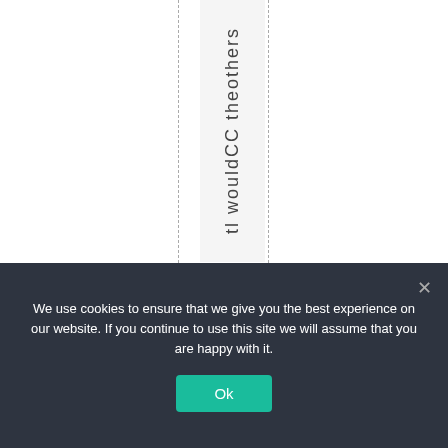[Figure (other): A column of rotated/vertical text reading 'tl wouldCC theothers' displayed vertically in a light gray column, with two dashed vertical lines flanking it on a white background.]
We use cookies to ensure that we give you the best experience on our website. If you continue to use this site we will assume that you are happy with it.
Ok